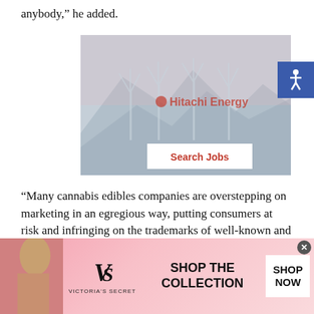anybody,” he added.
[Figure (photo): Hitachi Energy advertisement showing wind turbines in a misty landscape with a 'Search Jobs' button overlay]
“Many cannabis edibles companies are overstepping on marketing in an egregious way, putting consumers at risk and infringing on the trademarks of well-known and trusted
[Figure (infographic): Victoria's Secret banner advertisement showing a model, the VS logo, 'SHOP THE COLLECTION' text, and a 'SHOP NOW' button]